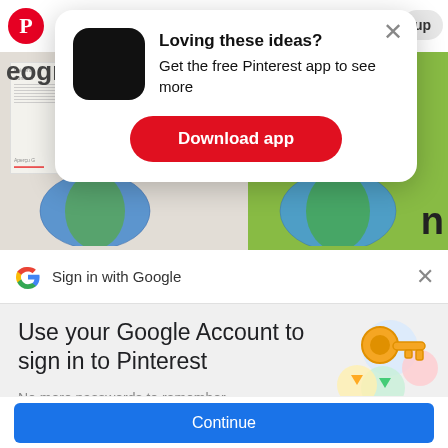[Figure (screenshot): Pinterest app download popup modal with black app icon, heading 'Loving these ideas? Get the free Pinterest app to see more', red Download app button, and close X button. Background shows Pinterest page with globe images and 'eograph' partial text visible. Red Pinterest logo in top left.]
[Figure (screenshot): Google Sign-in bar with Google G logo and text 'Sign in with Google' with X close button]
Use your Google Account to sign in to Pinterest
No more passwords to remember. Signing in is fast, simple and secure.
[Figure (illustration): Google account illustration showing golden key with colorful circular elements]
Continue